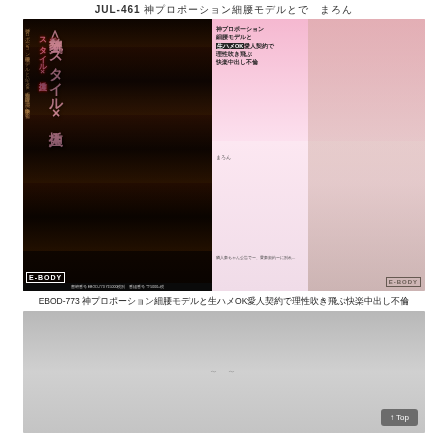JUL-461 神プロポーション細腰モデルとで　まろん
[Figure (photo): DVD cover for EBOD-773, showing a woman in white top and beige skirt on right side with pink background, and collage of scenes on dark left side. E-BODY label visible.]
EBOD-773 神プロポーション細腰モデルと生ハメOK愛人契約で理性吹き飛ぶ快楽中出し不倫
[Figure (photo): Gray placeholder image, second still/thumbnail area below the product title.]